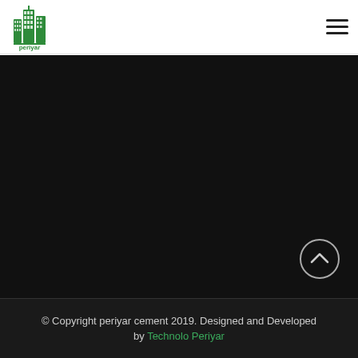periyar cements logo and navigation
[Figure (logo): Periyar Cements logo: green building icon with 'periyar cements' text]
[Figure (other): Hamburger menu icon (three horizontal lines)]
[Figure (other): Dark black content section with a circular scroll-to-top arrow button at bottom right]
© Copyright periyar cement 2019. Designed and Developed by...